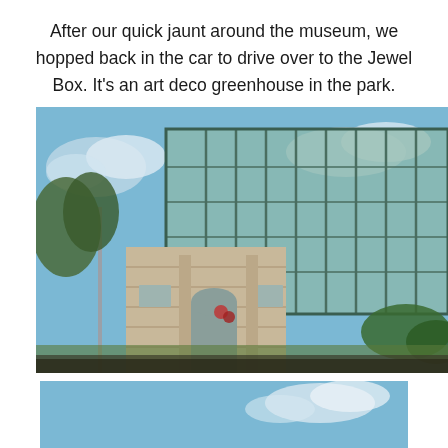After our quick jaunt around the museum, we hopped back in the car to drive over to the Jewel Box. It's an art deco greenhouse in the park.
[Figure (photo): Exterior photograph of the Jewel Box, an art deco greenhouse building with large glass panels and steel frame, with a stone entrance building in the foreground, under a blue sky.]
[Figure (photo): Partial view of another photograph showing blue sky, cropped at the bottom of the page.]